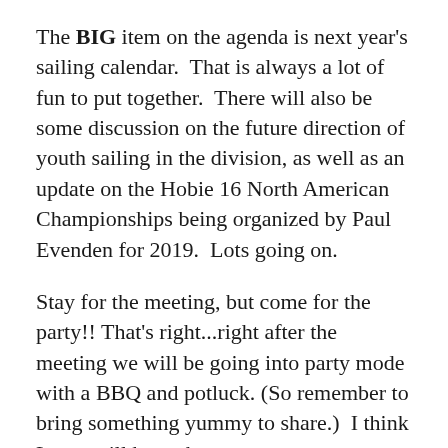The BIG item on the agenda is next year's sailing calendar.  That is always a lot of fun to put together.  There will also be some discussion on the future direction of youth sailing in the division, as well as an update on the Hobie 16 North American Championships being organized by Paul Evenden for 2019.  Lots going on.
Stay for the meeting, but come for the party!!  That's right...right after the meeting we will be going into party mode with a BBQ and potluck.  (So remember to bring something yummy to share.)  I think Laura will have the party accouterments handled.  (Easy for you to say!)